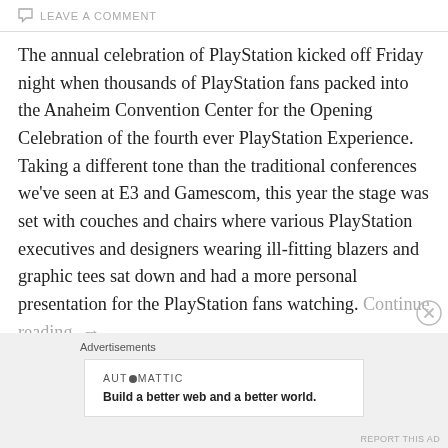LEAVE A COMMENT
The annual celebration of PlayStation kicked off Friday night when thousands of PlayStation fans packed into the Anaheim Convention Center for the Opening Celebration of the fourth ever PlayStation Experience. Taking a different tone than the traditional conferences we've seen at E3 and Gamescom, this year the stage was set with couches and chairs where various PlayStation executives and designers wearing ill-fitting blazers and graphic tees sat down and had a more personal presentation for the PlayStation fans watching. Continue reading →
Advertisements
[Figure (other): Automattic advertisement banner: AUTOMATTIC logo with tagline 'Build a better web and a better world.']